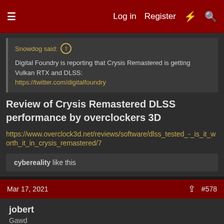Log in  Register  [icons]
Snowdog said: [quote] Digital Foundry is reporting that Crysis Remastered is getting Vulkan RTX and DLSS: https://twitter.com/digitalfoundry
Review of Crysis Remastered DLSS performance by overclockers 3D
https://www.overclock3d.net/reviews/software/dlss_tested_-_is_it_worth_it_in_crysis_remastered/7
cybereality like this
Mar 17, 2021  #578
jobert
Gawd
Marees said: